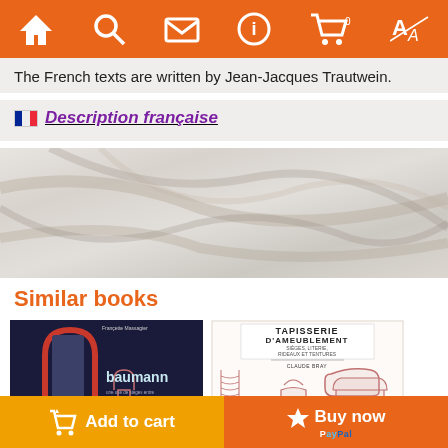Navigation bar with home, search, mail, info, cart (0), translate icons
The French texts are written by Jean-Jacques Trautwein.
🇫🇷 Description française
[Figure (photo): Marble texture background area]
Similar books
[Figure (photo): Book cover: baumann - une use de sièges entre tradition et modernité, by Françette Mongrion]
[Figure (photo): Book cover: Tapisserie d'ameublement sièges literie rideaux et tentures, by Claude Bray]
Add to cart | Buy now | PayPal